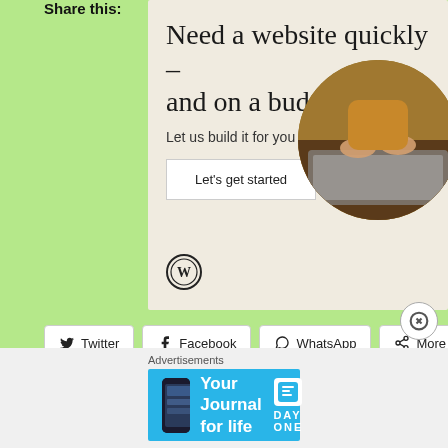[Figure (illustration): WordPress advertisement banner with beige background showing title 'Need a website quickly – and on a budget?', subtitle 'Let us build it for you', a 'Let's get started' button, WordPress logo, and a circular photo of hands typing on a laptop]
Share this:
Twitter
Facebook
WhatsApp
More
Loading
Advertisements
[Figure (illustration): Day One app advertisement banner with blue background showing phone thumbnail, 'Your Journal for life' text, and Day One logo]